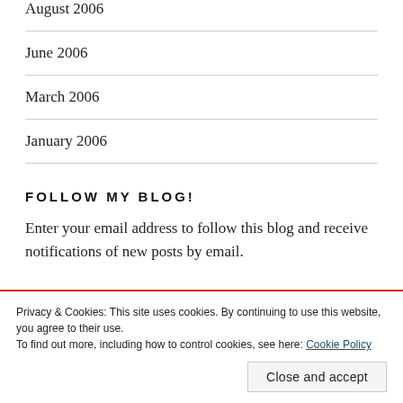August 2006
June 2006
March 2006
January 2006
FOLLOW MY BLOG!
Enter your email address to follow this blog and receive notifications of new posts by email.
Privacy & Cookies: This site uses cookies. By continuing to use this website, you agree to their use.
To find out more, including how to control cookies, see here: Cookie Policy
Close and accept